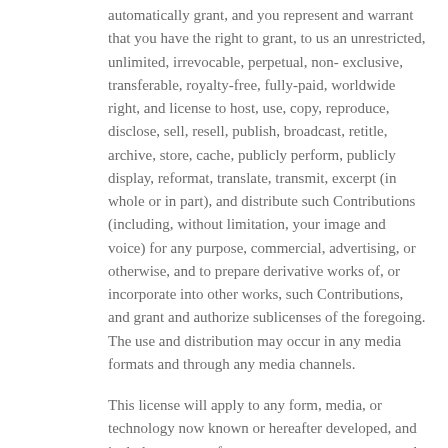automatically grant, and you represent and warrant that you have the right to grant, to us an unrestricted, unlimited, irrevocable, perpetual, non- exclusive, transferable, royalty-free, fully-paid, worldwide right, and license to host, use, copy, reproduce, disclose, sell, resell, publish, broadcast, retitle, archive, store, cache, publicly perform, publicly display, reformat, translate, transmit, excerpt (in whole or in part), and distribute such Contributions (including, without limitation, your image and voice) for any purpose, commercial, advertising, or otherwise, and to prepare derivative works of, or incorporate into other works, such Contributions, and grant and authorize sublicenses of the foregoing. The use and distribution may occur in any media formats and through any media channels.
This license will apply to any form, media, or technology now known or hereafter developed, and includes our use of your name, company name, and franchise name, as